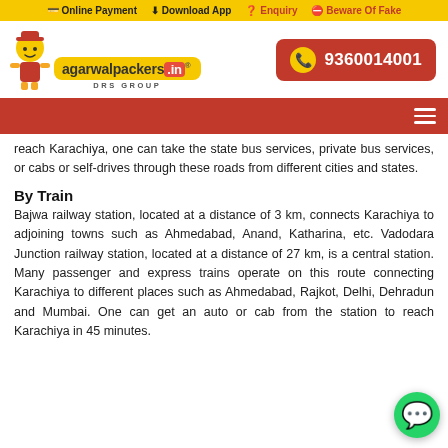Online Payment  Download App  Enquiry  Beware Of Fake
[Figure (logo): Agarwal Packers logo with mascot and DRS Group branding, plus phone number 9360014001]
reach Karachiya, one can take the state bus services, private bus services, or cabs or self-drives through these roads from different cities and states.
By Train
Bajwa railway station, located at a distance of 3 km, connects Karachiya to adjoining towns such as Ahmedabad, Anand, Katharina, etc. Vadodara Junction railway station, located at a distance of 27 km, is a central station. Many passenger and express trains operate on this route connecting Karachiya to different places such as Ahmedabad, Rajkot, Delhi, Dehradun and Mumbai. One can get an auto or cab from the station to reach Karachiya in 45 minutes.